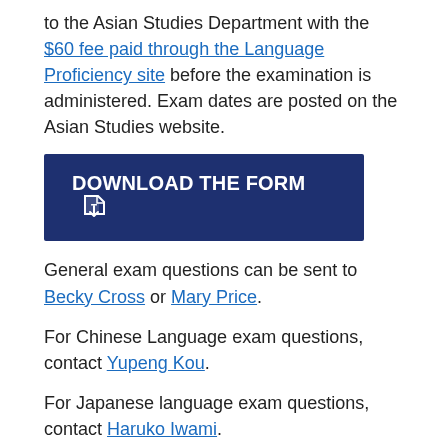to the Asian Studies Department with the $60 fee paid through the Language Proficiency site before the examination is administered. Exam dates are posted on the Asian Studies website.
[Figure (other): Blue button labeled DOWNLOAD THE FORM with a download icon]
General exam questions can be sent to Becky Cross or Mary Price.
For Chinese Language exam questions,  contact Yupeng Kou.
For Japanese language exam questions, contact Haruko Iwami.
For Korean language exam questions, contact Lan Kim.